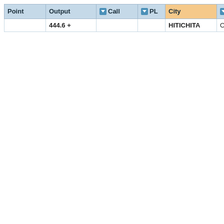| Point | Output | Call | PL | City | State | Show | Co |
| --- | --- | --- | --- | --- | --- | --- | --- |
|  | 444.6 + |  |  | HITICHITA | Oklahoma |  |  |